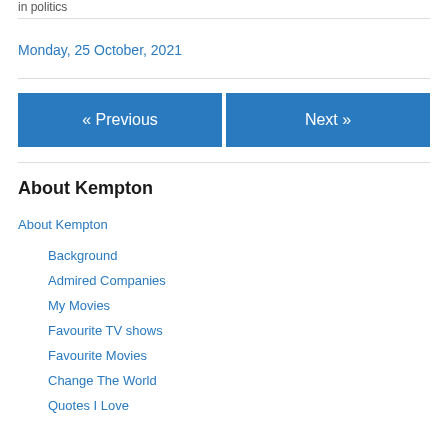in  politics
Monday, 25 October, 2021
« Previous
Next »
About Kempton
About Kempton
Background
Admired Companies
My Movies
Favourite TV shows
Favourite Movies
Change The World
Quotes I Love